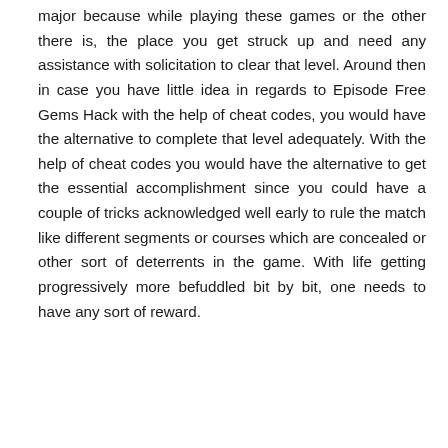major because while playing these games or the other there is, the place you get struck up and need any assistance with solicitation to clear that level. Around then in case you have little idea in regards to Episode Free Gems Hack with the help of cheat codes, you would have the alternative to complete that level adequately. With the help of cheat codes you would have the alternative to get the essential accomplishment since you could have a couple of tricks acknowledged well early to rule the match like different segments or courses which are concealed or other sort of deterrents in the game. With life getting progressively more befuddled bit by bit, one needs to have any sort of reward.